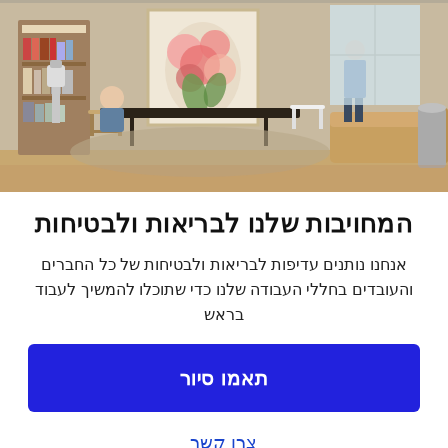[Figure (photo): Interior photo of a modern IKEA-style showroom/office space with bookshelves, dining table, chairs, sofa, artwork on wall, and two people visible]
המחויבות שלנו לבריאות ולבטיחות
אנחנו נותנים עדיפות לבריאות ולבטיחות של כל החברים והעובדים בחללי העבודה שלנו כדי שתוכלו להמשיך לעבוד בראש
תאמו סיור
צרו קשר